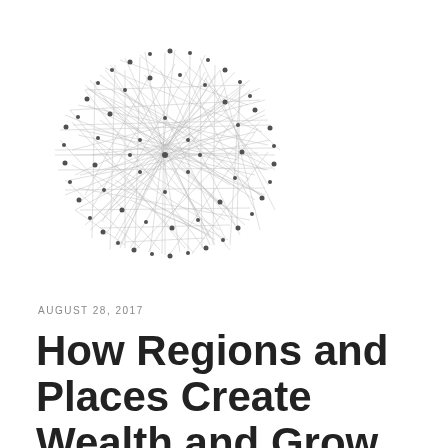[Figure (network-graph): A spherical network graph illustration showing many nodes connected by numerous intersecting lines, forming a dense globe-like shape. Dark gray/black nodes and edges on white background.]
AUGUST 28, 2017
How Regions and Places Create Wealth and Grow